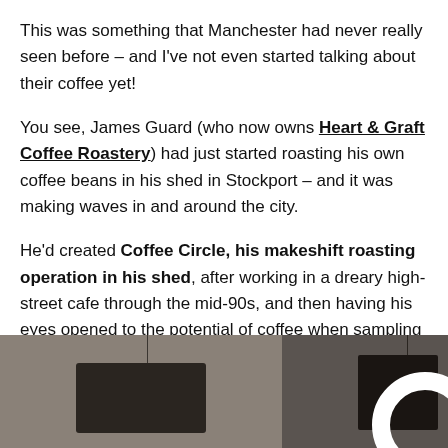This was something that Manchester had never really seen before – and I've not even started talking about their coffee yet!
You see, James Guard (who now owns Heart & Graft Coffee Roastery) had just started roasting his own coffee beans in his shed in Stockport – and it was making waves in and around the city.
He'd created Coffee Circle, his makeshift roasting operation in his shed, after working in a dreary high-street cafe through the mid-90s, and then having his eyes opened to the potential of coffee when sampling at London's Borough Market.
[Figure (photo): A dark, moody photograph showing what appears to be a cafe or coffee roastery interior, with hanging pendant lights (one lit bulb visible on the right), a laptop or screen visible, and dark equipment, split into two sections with a white gap.]